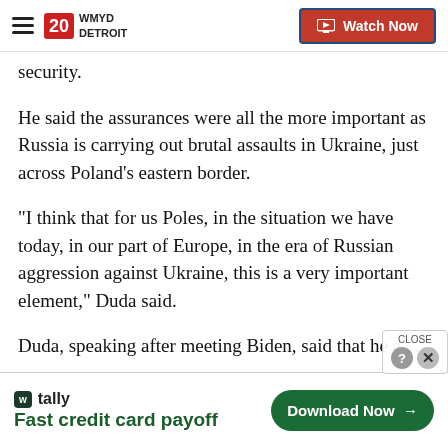20 WMYD DETROIT | Watch Now
security.
He said the assurances were all the more important as Russia is carrying out brutal assaults in Ukraine, just across Poland’s eastern border.
“I think that for us Poles, in the situation we have today, in our part of Europe, in the era of Russian aggression against Ukraine, this is a very important element,” Duda said.
Duda, speaking after meeting Biden, said that he a…
[Figure (other): Tally advertisement banner: Fast credit card payoff, Download Now button]